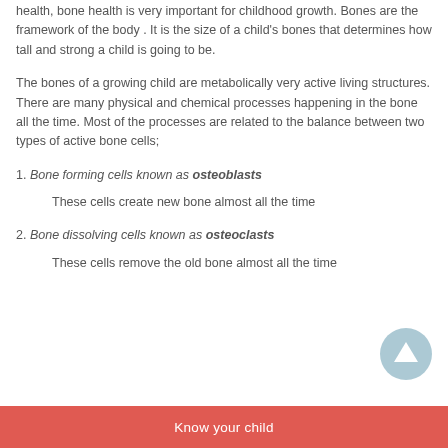health, bone health is very important for childhood growth. Bones are the framework of the body . It is the size of a child's bones that determines how tall and strong a child is going to be.
The bones of a growing child are metabolically very active living structures. There are many physical and chemical processes happening in the bone all the time. Most of the processes are related to the balance between two types of active bone cells;
1. Bone forming cells known as osteoblasts
These cells create new bone almost all the time
2. Bone dissolving cells known as osteoclasts
These cells remove the old bone almost all the time
Know your child